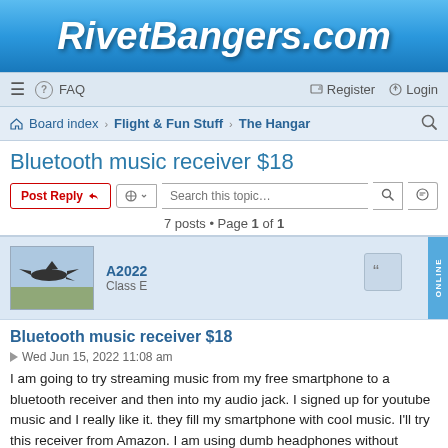RivetBangers.com
≡  FAQ  Register  Login
Board index · Flight & Fun Stuff · The Hangar
Bluetooth music receiver $18
Post Reply  [tools]  Search this topic...  7 posts • Page 1 of 1
A2022
Class E
ONLINE
Bluetooth music receiver $18
Wed Jun 15, 2022 11:08 am
I am going to try streaming music from my free smartphone to a bluetooth receiver and then into my audio jack. I signed up for youtube music and I really like it. they fill my smartphone with cool music. I'll try this receiver from Amazon. I am using dumb headphones without bluetooth because I am cheap. thinking of Michigan next week (Traverse City area), camping on field and flying to nearby airports during the day. $3 per day for parking. most of the airports there will give you a bicycle, so the expense will be for food and fuel…